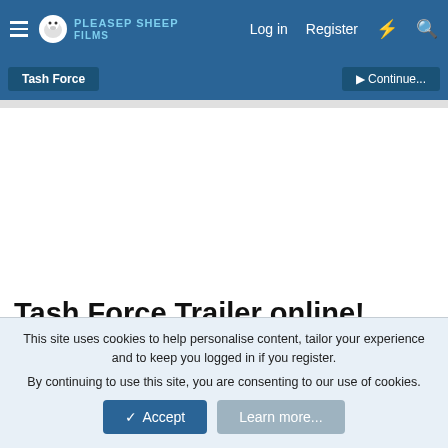PleaSed Sheep Films — Log in  Register
Tash Force  |  Continue...
Tash Force Trailer online!
wiggy · Feb 8, 2012  · 9,609 · 26
At last, the official trailer for Tash Force our comedy feature that
This site uses cookies to help personalise content, tailor your experience and to keep you logged in if you register.
By continuing to use this site, you are consenting to our use of cookies.